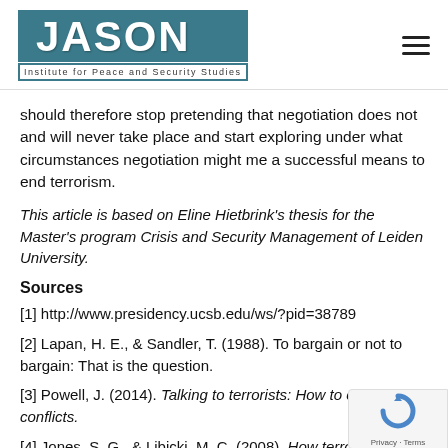JASON Institute for Peace and Security Studies
should therefore stop pretending that negotiation does not and will never take place and start exploring under what circumstances negotiation might me a successful means to end terrorism.
This article is based on Eline Hietbrink's thesis for the Master's program Crisis and Security Management of Leiden University.
Sources
[1] http://www.presidency.ucsb.edu/ws/?pid=38789
[2] Lapan, H. E., & Sandler, T. (1988). To bargain or not to bargain: That is the question.
[3] Powell, J. (2014). Talking to terrorists: How to end armed conflicts.
[4] Jones, S. G., & Libicki, M. C. (2008). How terrorist groups end.